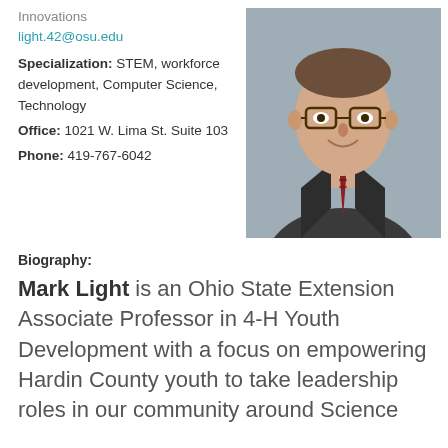Innovations
light.42@osu.edu
Specialization: STEM, workforce development, Computer Science, Technology
Office: 1021 W. Lima St. Suite 103
Phone: 419-767-6042
[Figure (photo): Professional headshot of Mark Light, a man in a dark suit and striped tie wearing glasses, smiling, against a grey background.]
Biography:
Mark Light is an Ohio State Extension Associate Professor in 4-H Youth Development with a focus on empowering Hardin County youth to take leadership roles in our community around Science